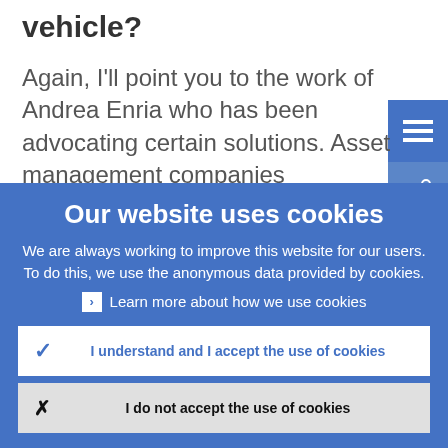vehicle?
Again, I'll point you to the work of Andrea Enria who has been advocating certain solutions. Asset management companies
Our website uses cookies
We are always working to improve this website for our users. To do this, we use the anonymous data provided by cookies.
Learn more about how we use cookies
I understand and I accept the use of cookies
I do not accept the use of cookies